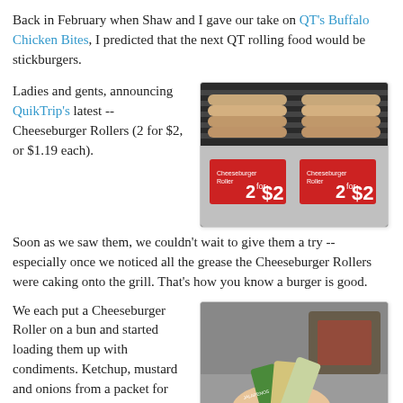Back in February when Shaw and I gave our take on QT's Buffalo Chicken Bites, I predicted that the next QT rolling food would be stickburgers.
Ladies and gents, announcing QuikTrip's latest -- Cheeseburger Rollers (2 for $2, or $1.19 each).
[Figure (photo): Photo of Cheeseburger Rollers on a rolling grill at QuikTrip, with price signs reading 2 for $2]
Soon as we saw them, we couldn't wait to give them a try -- especially once we noticed all the grease the Cheeseburger Rollers were caking onto the grill. That's how you know a burger is good.
We each put a Cheeseburger Roller on a bun and started loading them up with condiments. Ketchup, mustard and onions from a packet for me.
[Figure (photo): Photo of condiment packets including jalapenos being held in a hand, with a basket of condiments in the background]
Flecked with cheese inside,